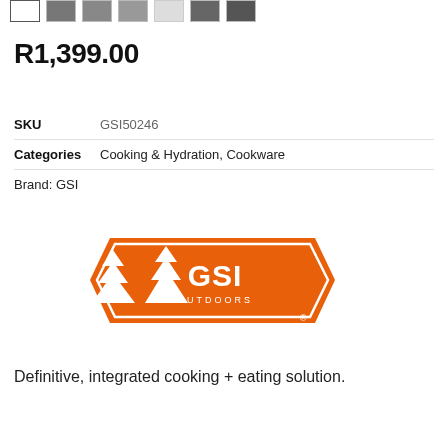[Figure (other): Row of product thumbnail images at top of page]
R1,399.00
| SKU | GSI50246 |
| Categories | Cooking & Hydration, Cookware |
| Brand: | GSI |
[Figure (logo): GSI Outdoors logo — orange shield/badge shape with pine trees and GSI OUTDOORS text]
Definitive, integrated cooking + eating solution.